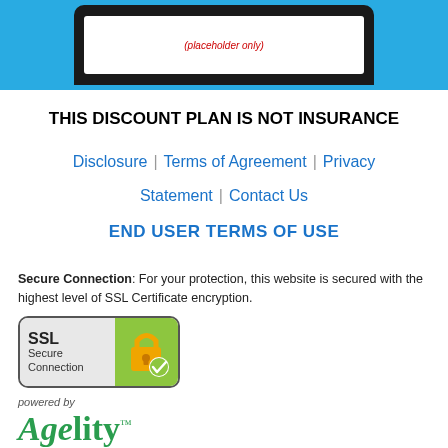[Figure (screenshot): Blue banner at top with phone mockup showing a red italic text on white screen (partially visible URL or disclaimer text)]
THIS DISCOUNT PLAN IS NOT INSURANCE
Disclosure | Terms of Agreement | Privacy Statement | Contact Us
END USER TERMS OF USE
Secure Connection: For your protection, this website is secured with the highest level of SSL Certificate encryption.
[Figure (logo): SSL Secure Connection badge with gray left panel showing SSL Secure Connection text and green right panel with padlock and checkmark icon]
powered by
[Figure (logo): Agelity logo in green with trademark symbol]